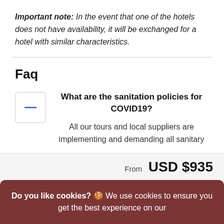Important note: In the event that one of the hotels does not have availability, it will be exchanged for a hotel with similar characteristics.
Faq
What are the sanitation policies for COVID19?
All our tours and local suppliers are implementing and demanding all sanitary
From  USD $935
Do you like cookies? 🍪 We use cookies to ensure you get the best experience on our